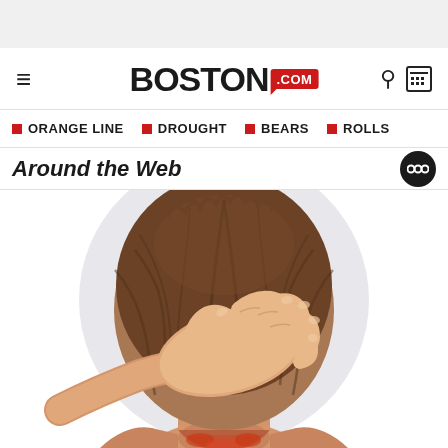Boston.com
ORANGE LINE
DROUGHT
BEARS
ROLLS
Around the Web
[Figure (illustration): Medical illustration showing the back of a person's head and neck. A hand is pressing down on the top of the head. The neck area shows redness and irritation at the base of the skull/neck.]